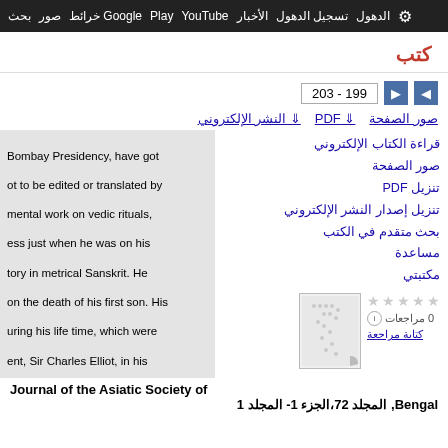بحث صور خرائط Google Play YouTube الأخبار تسجيل الدهول الدهول
كتب
199 - 203
صور الصفحة  PDF  النشر الإلكتروني
Bombay Presidency, have got not to be edited or translated by mental work on vedic rituals, ess just when he was on his tory in metrical Sanskrit. He on the death of his first son. His uring his life time, which were ent, Sir Charles Elliot, in his nd was he of a retired life that he Councils. No sooner he nage and travelled through t of the year in the associations ildings, temples, and chetras, e Punjab, Ranjit Singb, had e Maharaja of Hutwa had plated
قراءة الكتاب الإلكتروني
صور الصفحة
تنزيل PDF
تنزيل إصدار النشر الإلكتروني
بحث متقدم في الكتب
مساعدة
مكتبتي
0 مراجعات
كتابة مراجعة
Journal of the Asiatic Society of Bengal, المجلد 72،الجزء 1- المجلد 1